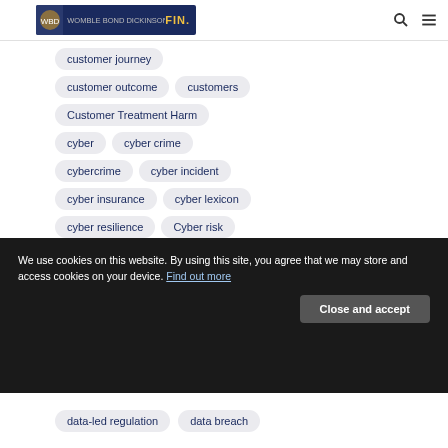Womble Bond Dickinson | FIN.
customer journey
customer outcome
customers
Customer Treatment Harm
cyber
cyber crime
cybercrime
cyber incident
cyber insurance
cyber lexicon
cyber resilience
Cyber risk
cyber risks
Cyber Security
cyber threat
Cyprus
CySEC
We use cookies on this website. By using this site, you agree that we may store and access cookies on your device. Find out more
Close and accept
data-led regulation
data breach